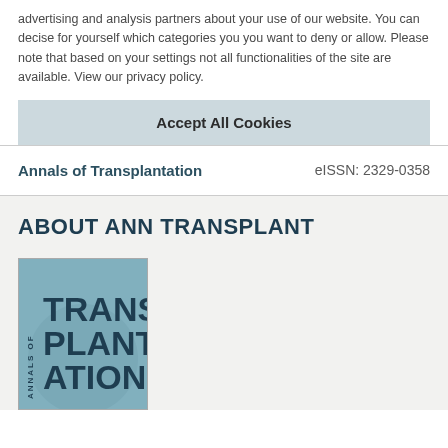advertising and analysis partners about your use of our website. You can decise for yourself which categories you you want to deny or allow. Please note that based on your settings not all functionalities of the site are available. View our privacy policy.
Accept All Cookies
Annals of Transplantation
eISSN: 2329-0358
ABOUT ANN TRANSPLANT
[Figure (logo): Cover image of Annals of Transplantation journal showing TRANSPLANTATION in large bold text with ANNALS OF in vertical text along the left side, on a blue-grey background]